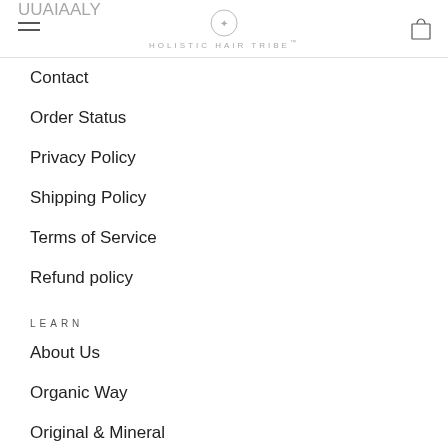HOLISTIC HAIR TRIBE
Contact
Order Status
Privacy Policy
Shipping Policy
Terms of Service
Refund policy
LEARN
About Us
Organic Way
Original & Mineral
Product Guide